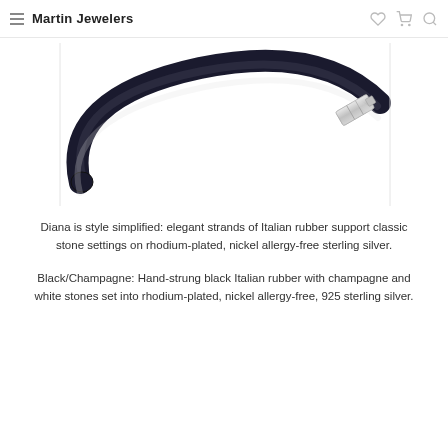Martin Jewelers
[Figure (photo): A black Italian rubber bracelet with a silver clasp/closure, shown on a white background with a subtle reflection below.]
Diana is style simplified: elegant strands of Italian rubber support classic stone settings on rhodium-plated, nickel allergy-free sterling silver.
Black/Champagne: Hand-strung black Italian rubber with champagne and white stones set into rhodium-plated, nickel allergy-free, 925 sterling silver.